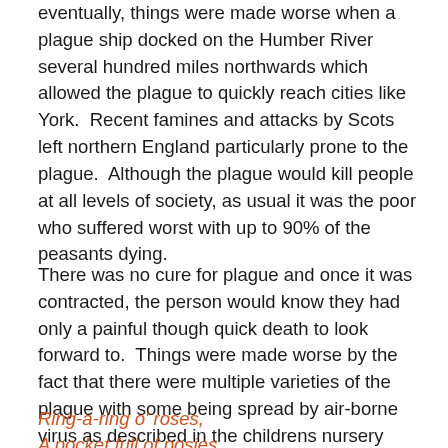eventually, things were made worse when a plague ship docked on the Humber River several hundred miles northwards which allowed the plague to quickly reach cities like York.  Recent famines and attacks by Scots left northern England particularly prone to the plague.  Although the plague would kill people at all levels of society, as usual it was the poor who suffered worst with up to 90% of the peasants dying.
There was no cure for plague and once it was contracted, the person would know they had only a painful though quick death to look forward to.  Things were made worse by the fact that there were multiple varieties of the plague with some being spread by air-borne virus as described in the childrens nursery rhyme below.
Ring-a-ring o' roses,
A pocket full of posies,